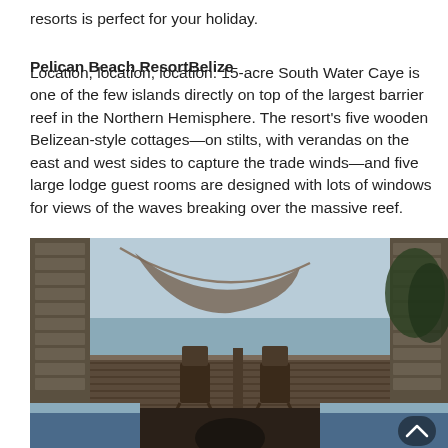resorts is perfect for your holiday.
Pelican Beach ResortBelize
Location, location, location: 15-acre South Water Caye is one of the few islands directly on top of the largest barrier reef in the Northern Hemisphere. The resort's five wooden Belizean-style cottages—on stilts, with verandas on the east and west sides to capture the trade winds—and five large lodge guest rooms are designed with lots of windows for views of the waves breaking over the massive reef.
[Figure (photo): Interior view from a cottage bedroom looking out through open shuttered windows and glass doors onto a wooden veranda deck with two wicker chairs and a hammock, overlooking the ocean/barrier reef. Trees visible to the right. Beds with blue covers visible in the foreground. Image has a dark/dimly lit interior with bright exterior.]